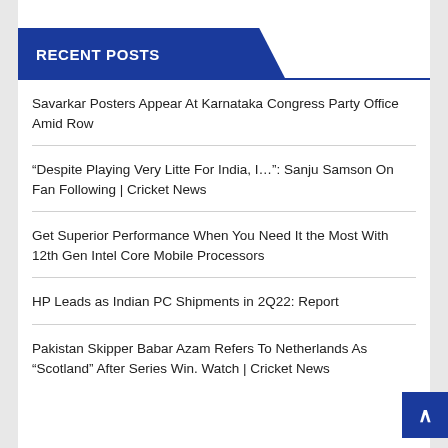RECENT POSTS
Savarkar Posters Appear At Karnataka Congress Party Office Amid Row
“Despite Playing Very Litte For India, I…”: Sanju Samson On Fan Following | Cricket News
Get Superior Performance When You Need It the Most With 12th Gen Intel Core Mobile Processors
HP Leads as Indian PC Shipments in 2Q22: Report
Pakistan Skipper Babar Azam Refers To Netherlands As “Scotland” After Series Win. Watch | Cricket News